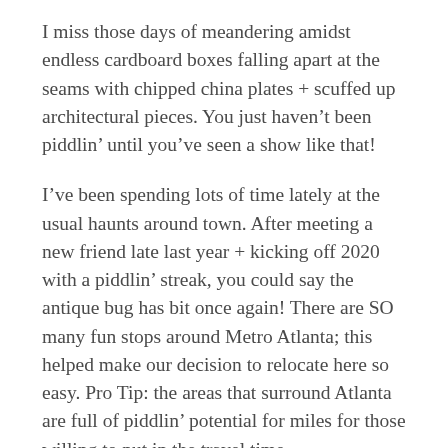I miss those days of meandering amidst endless cardboard boxes falling apart at the seams with chipped china plates + scuffed up architectural pieces. You just haven't been piddlin' until you've seen a show like that!
I've been spending lots of time lately at the usual haunts around town. After meeting a new friend late last year + kicking off 2020 with a piddlin' streak, you could say the antique bug has bit once again! There are SO many fun stops around Metro Atlanta; this helped make our decision to relocate here so easy. Pro Tip: the areas that surround Atlanta are full of piddlin' potential for miles for those willing to put in the travel time.